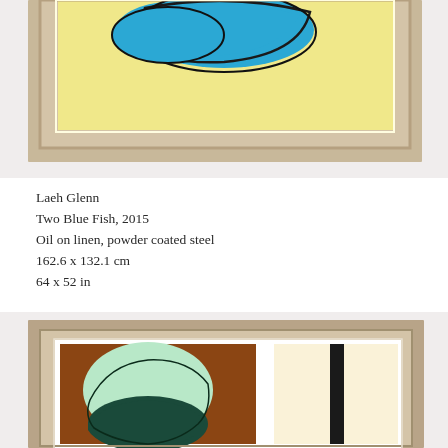[Figure (photo): Top portion of a framed painting by Laeh Glenn showing abstract blue fish shapes on a yellow background with a tan/brown frame, partially cropped at top.]
Laeh Glenn
Two Blue Fish, 2015
Oil on linen, powder coated steel
162.6 x 132.1 cm
64 x 52 in
[Figure (photo): Bottom portion showing a framed diptych painting by Laeh Glenn. Left panel has a brown background with a mint/light green organic blob shape over dark teal. Right panel has a cream/light yellow background with a narrow black vertical bar. Frame is tan/brown.]